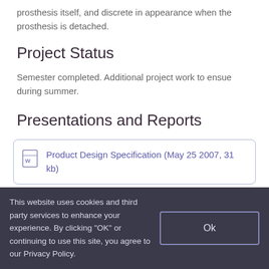prosthesis itself, and discrete in appearance when the prosthesis is detached.
Project Status
Semester completed. Additional project work to ensue during summer.
Presentations and Reports
Product Design Specification (May 25 2007, 31 kb)
This website uses cookies and third party services to enhance your experience. By clicking "OK" or continuing to use this site, you agree to our Privacy Policy.